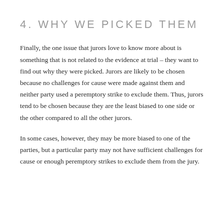4. WHY WE PICKED THEM
Finally, the one issue that jurors love to know more about is something that is not related to the evidence at trial – they want to find out why they were picked. Jurors are likely to be chosen because no challenges for cause were made against them and neither party used a peremptory strike to exclude them. Thus, jurors tend to be chosen because they are the least biased to one side or the other compared to all the other jurors.
In some cases, however, they may be more biased to one of the parties, but a particular party may not have sufficient challenges for cause or enough peremptory strikes to exclude them from the jury.